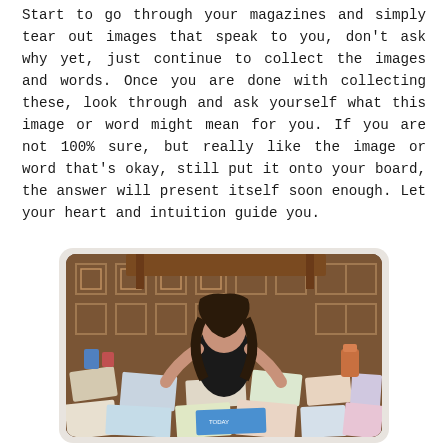Start to go through your magazines and simply tear out images that speak to you, don't ask why yet, just continue to collect the images and words. Once you are done with collecting these, look through and ask yourself what this image or word might mean for you. If you are not 100% sure, but really like the image or word that's okay, still put it onto your board, the answer will present itself soon enough. Let your heart and intuition guide you.
[Figure (photo): A woman with dark hair viewed from above, sitting on a patterned rug/carpet surrounded by many scattered magazine clippings, images and papers. A wooden table is visible in the background.]